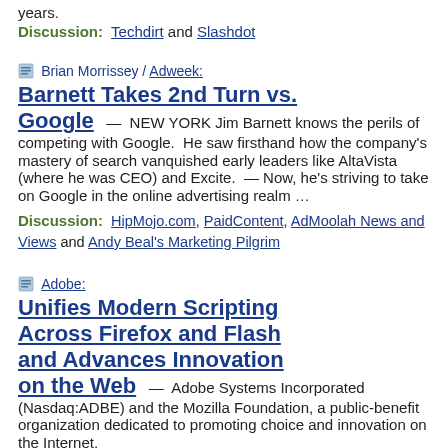years.
Discussion: Techdirt and Slashdot
Brian Morrissey / Adweek:
Barnett Takes 2nd Turn vs. Google
— NEW YORK Jim Barnett knows the perils of competing with Google. He saw firsthand how the company's mastery of search vanquished early leaders like AltaVista (where he was CEO) and Excite. — Now, he's striving to take on Google in the online advertising realm …
Discussion: HipMojo.com, PaidContent, AdMoolah News and Views and Andy Beal's Marketing Pilgrim
Adobe:
Unifies Modern Scripting Across Firefox and Flash and Advances Innovation on the Web
— Adobe Systems Incorporated (Nasdaq:ADBE) and the Mozilla Foundation, a public-benefit organization dedicated to promoting choice and innovation on the Internet,